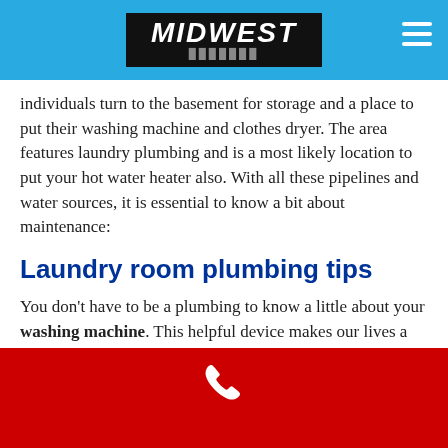MIDWEST
individuals turn to the basement for storage and a place to put their washing machine and clothes dryer. The area features laundry plumbing and is a most likely location to put your hot water heater also. With all these pipelines and water sources, it is essential to know a bit about maintenance:
Laundry room plumbing tips
You don't have to be a plumbing to know a little about your washing machine. This helpful device makes our lives a lot easier, it's essential that we treat it well so it stays in good condition for many years to come. An easy method to keep your machine running smoothly is to inspect its hoses. If you see indications of wear, consider changing old